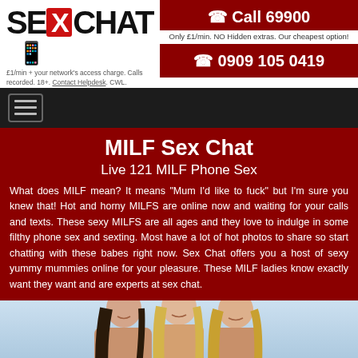SE[X]CHAT — Call 69900 / 0909 105 0419. Only £1/min. NO Hidden extras. Our cheapest option! £1/min + your network's access charge. Calls recorded. 18+. Contact Helpdesk. CWL.
MILF Sex Chat
Live 121 MILF Phone Sex
What does MILF mean? It means "Mum I'd like to fuck" but I'm sure you knew that! Hot and horny MILFS are online now and waiting for your calls and texts. These sexy MILFS are all ages and they love to indulge in some filthy phone sex and sexting. Most have a lot of hot photos to share so start chatting with these babes right now. Sex Chat offers you a host of sexy yummy mummies online for your pleasure. These MILF ladies know exactly want they want and are experts at sex chat.
[Figure (photo): Three smiling women posing together outdoors against a light blue sky background]